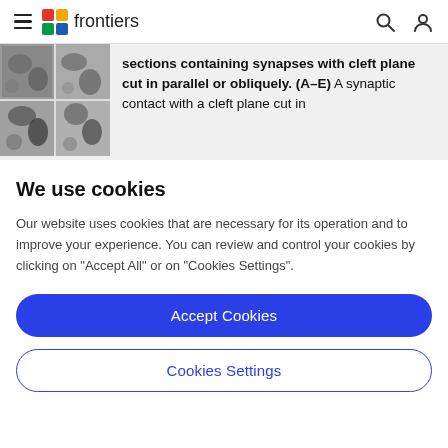frontiers
[Figure (photo): Microscopy image grid showing synaptic sections with cleft planes cut in parallel or obliquely (panels A-E)]
sections containing synapses with cleft plane cut in parallel or obliquely. (A–E) A synaptic contact with a cleft plane cut in
We use cookies
Our website uses cookies that are necessary for its operation and to improve your experience. You can review and control your cookies by clicking on "Accept All" or on "Cookies Settings".
Accept Cookies
Cookies Settings